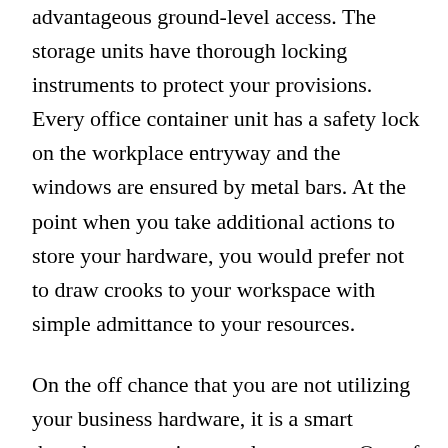advantageous ground-level access. The storage units have thorough locking instruments to protect your provisions. Every office container unit has a safety lock on the workplace entryway and the windows are ensured by metal bars. At the point when you take additional actions to store your hardware, you would prefer not to draw crooks to your workspace with simple admittance to your resources.
On the off chance that you are not utilizing your business hardware, it is a smart thought to store it someplace secure. One of the fundamental advantages of